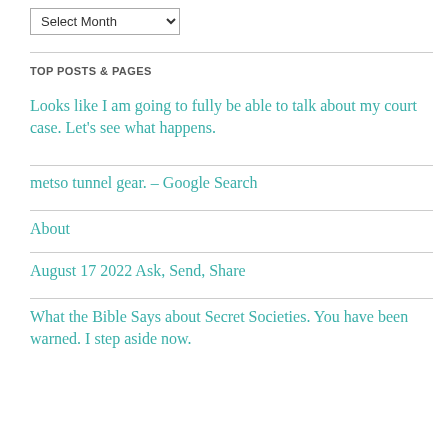[Figure (other): A dropdown select widget labeled 'Select Month']
TOP POSTS & PAGES
Looks like I am going to fully be able to talk about my court case. Let's see what happens.
metso tunnel gear. – Google Search
About
August 17 2022 Ask, Send, Share
What the Bible Says about Secret Societies. You have been warned. I step aside now.